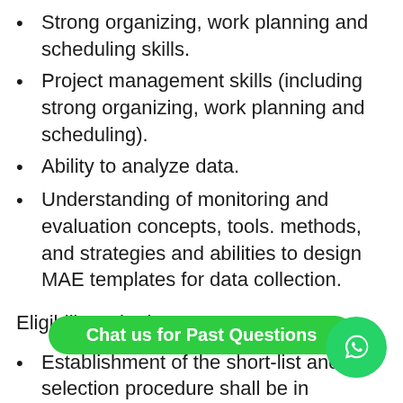Strong organizing, work planning and scheduling skills.
Project management skills (including strong organizing, work planning and scheduling).
Ability to analyze data.
Understanding of monitoring and evaluation concepts, tools. methods, and strategies and abilities to design MAE templates for data collection.
Eligibility Criteria:
Establishment of the short-list and the selection procedure shall be in accordance with the African Development Bank Group Procurement Framework for Bank Group Funded